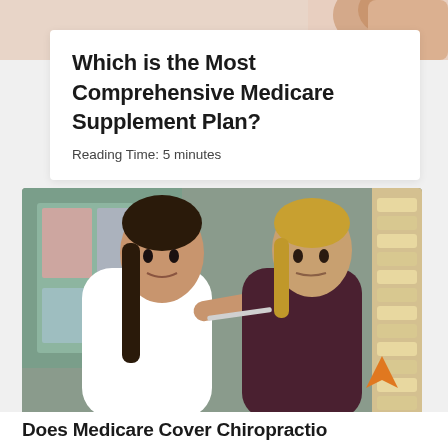[Figure (photo): Hand gesture visible at top right corner of page, skin tone background]
Which is the Most Comprehensive Medicare Supplement Plan?
Reading Time: 5 minutes
[Figure (photo): A female doctor in a white lab coat and a female patient looking at a spine anatomical model. Medical anatomy poster visible in background.]
Does Medicare Cover Chiropractio